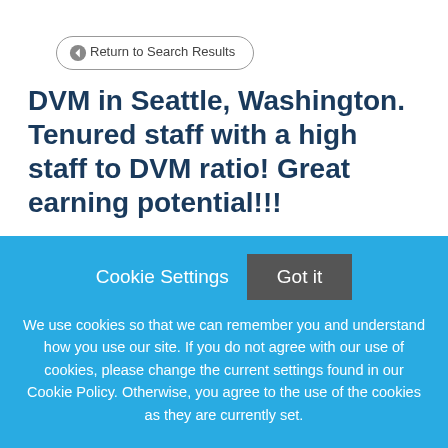Return to Search Results
DVM in Seattle, Washington. Tenured staff with a high staff to DVM ratio! Great earning potential!!!
Northgate Veterinary Clinic in Seattle, WA, is looking to add another full time veterinarian to our 4 doctor team. Come join a well-established, tenured, collaborative DVM & hospital team!!! Add have great earning potential!! We
Cookie Settings
Got it
We use cookies so that we can remember you and understand how you use our site. If you do not agree with our use of cookies, please change the current settings found in our Cookie Policy. Otherwise, you agree to the use of the cookies as they are currently set.